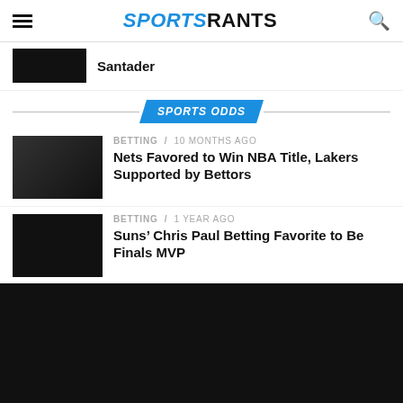SPORTSRANTS
Santader
SPORTS ODDS
BETTING / 10 months ago
Nets Favored to Win NBA Title, Lakers Supported by Bettors
BETTING / 1 year ago
Suns’ Chris Paul Betting Favorite to Be Finals MVP
BETTING / 2 years ago
Chiefs Favorites to Win Super Bowl LVI